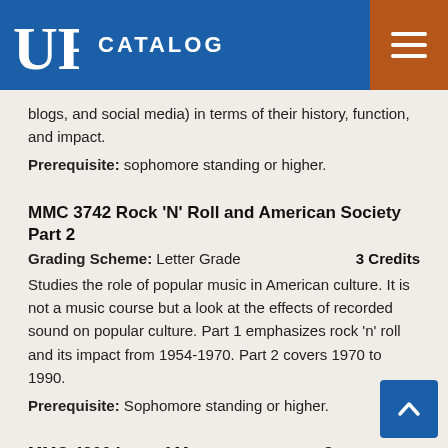UF CATALOG
blogs, and social media) in terms of their history, function, and impact.
Prerequisite: sophomore standing or higher.
MMC 3742 Rock 'N' Roll and American Society Part 2
Grading Scheme: Letter Grade    3 Credits
Studies the role of popular music in American culture. It is not a music course but a look at the effects of recorded sound on popular culture. Part 1 emphasizes rock 'n' roll and its impact from 1954-1970. Part 2 covers 1970 to 1990.
Prerequisite: Sophomore standing or higher.
MMC 4200 Law of Mass Communication   3 Credits
Grading Scheme: Letter Grade